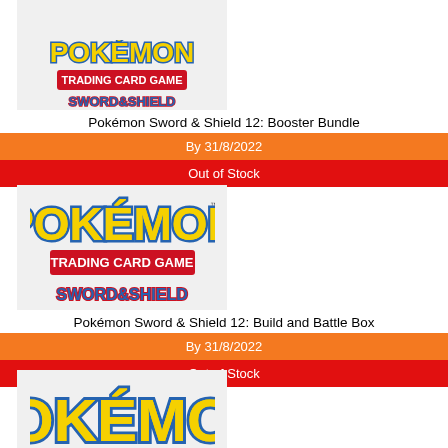[Figure (photo): Pokémon Trading Card Game Sword & Shield product image (partial, top cropped)]
Pokémon Sword & Shield 12: Booster Bundle
By 31/8/2022
Out of Stock
[Figure (photo): Pokémon Trading Card Game Sword & Shield product image with yellow Pokémon logo, red Trading Card Game banner, and Sword & Shield text]
Pokémon Sword & Shield 12: Build and Battle Box
By 31/8/2022
Out of Stock
[Figure (photo): Pokémon Trading Card Game product image (partial, bottom cropped) showing yellow Pokémon logo]